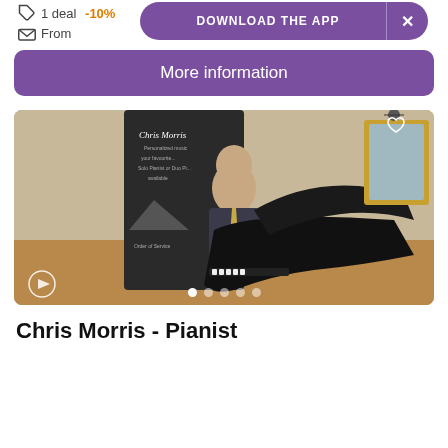1 deal -10%
From
DOWNLOAD THE APP
More information
[Figure (photo): A pianist named Chris Morris seated at a large black grand piano, wearing a dark suit with a yellow tie. Behind him is a promotional banner reading 'Chris Morris' with text about personalized music, solo pianist or duo pianist available. The setting appears to be an elegant room with wood floors and decorative furnishings.]
Chris Morris - Pianist